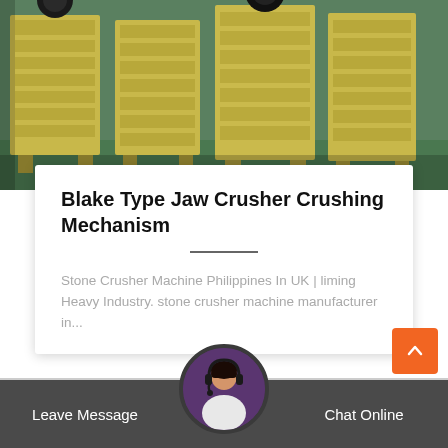[Figure (photo): Row of yellow/beige jaw crusher machines lined up in an industrial warehouse/factory floor with green painted floor]
Blake Type Jaw Crusher Crushing Mechanism
Stone Crusher Machine Philippines In UK | liming Heavy Industry. stone crusher machine manufacturer in...
Leave Message
Chat Online